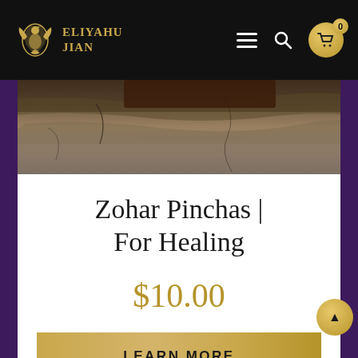ELIYAHU JIAN
[Figure (photo): Stone/rock texture background hero image]
Zohar Pinchas | For Healing
$10.00
LEARN MORE